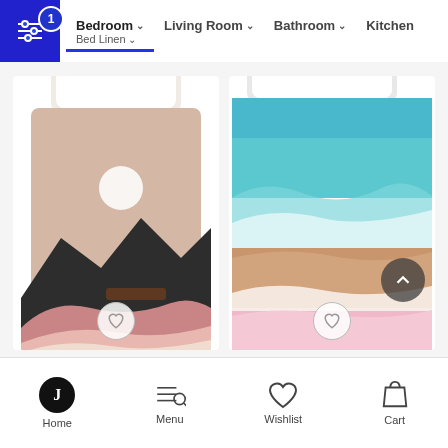Bedroom / Bed Linen | Living Room | Bathroom | Kitchen
[Figure (photo): Two bed linen products shown on beds: left is a desert landscape duvet in pink/beige tones with black silhouette mountains and a moon; right is a beach/ocean wave duvet in turquoise, peach, and pink tones]
Home | Menu | Wishlist | Cart